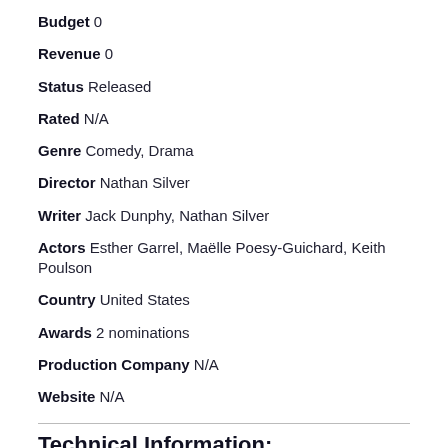Budget 0
Revenue 0
Status Released
Rated N/A
Genre Comedy, Drama
Director Nathan Silver
Writer Jack Dunphy, Nathan Silver
Actors Esther Garrel, Maëlle Poesy-Guichard, Keith Poulson
Country United States
Awards 2 nominations
Production Company N/A
Website N/A
Technical Information:
Sound Mix N/A
Aspect Ratio N/A
Camera Sony a7s Mark II
Laboratory N/A
Film Length N/A